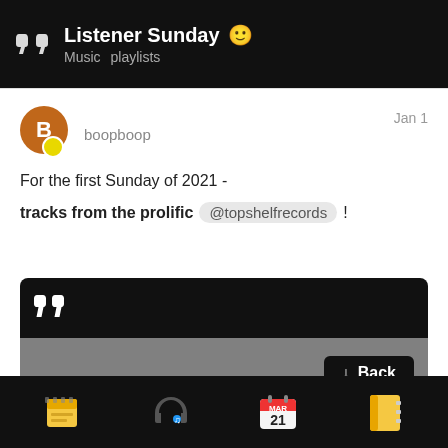Listener Sunday 🙂 — Music playlists
boopboop — Jan 1
For the first Sunday of 2021 -
tracks from the prolific @topshelfrecords !
[Figure (screenshot): Embedded music player card with dark header showing quote icons, gray content area, a 'Back' button and page indicator '3/26']
Navigation bar with icons: notepad, headphones/music, calendar (MAR 21), notebook